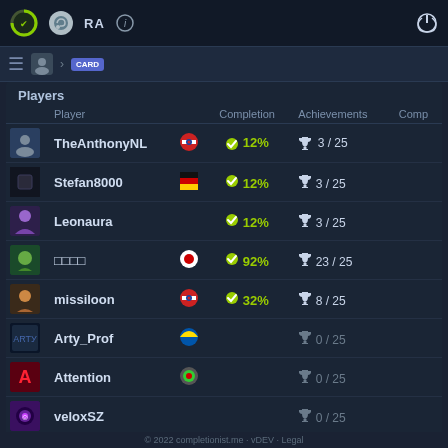Completionist.me - Navigation bar with Steam, RA icons and power button
Players
|  | Player |  | Completion | Achievements | Comp |
| --- | --- | --- | --- | --- | --- |
|  | TheAnthonyNL | 🇳🇱 | ✔ 12% | 🏆 3 / 25 |  |
|  | Stefan8000 | 🇩🇪 | ✔ 12% | 🏆 3 / 25 |  |
|  | Leonaura |  | ✔ 12% | 🏆 3 / 25 |  |
|  | □□□□ | 🇯🇵 | ✔ 92% | 🏆 23 / 25 |  |
|  | missiloon | 🇳🇱 | ✔ 32% | 🏆 8 / 25 |  |
|  | Arty_Prof | 🇺🇦 |  | 🏆 0 / 25 |  |
|  | Attention | 🇧🇾 |  | 🏆 0 / 25 |  |
|  | veloxSZ |  |  | 🏆 0 / 25 |  |
© 2022 completionist.me · vDEV · Legal